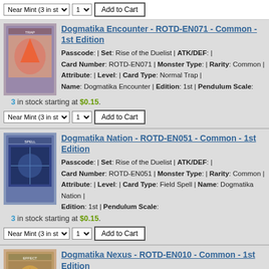Near Mint (3 in st) | 1 | Add to Cart
Dogmatika Encounter - ROTD-EN071 - Common - 1st Edition
Passcode: | Set: Rise of the Duelist | ATK/DEF: | Card Number: ROTD-EN071 | Monster Type: | Rarity: Common | Attribute: | Level: | Card Type: Normal Trap | Name: Dogmatika Encounter | Edition: 1st | Pendulum Scale:
3 in stock starting at $0.15.
Near Mint (3 in st) | 1 | Add to Cart
Dogmatika Nation - ROTD-EN051 - Common - 1st Edition
Passcode: | Set: Rise of the Duelist | ATK/DEF: | Card Number: ROTD-EN051 | Monster Type: | Rarity: Common | Attribute: | Level: | Card Type: Field Spell | Name: Dogmatika Nation | Edition: 1st | Pendulum Scale:
3 in stock starting at $0.15.
Near Mint (3 in st) | 1 | Add to Cart
Dogmatika Nexus - ROTD-EN010 - Common - 1st Edition
Passcode: | Set: Rise of the Duelist | ATK/DEF: | Card Number: ROTD-EN010 | Monster Type: | Rarity: Common | Attribute: | Level: | Card Type: Effect Monster | Name: Dogmatika Nexus | Edition: 1st | Pendulum Scale: